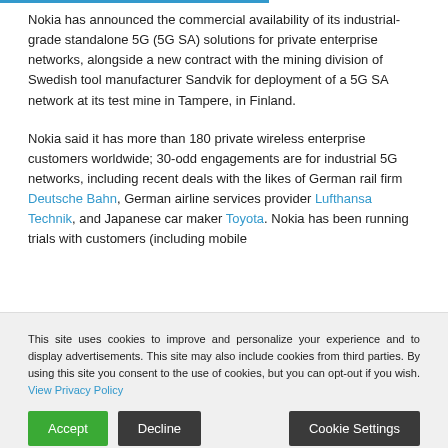Nokia has announced the commercial availability of its industrial-grade standalone 5G (5G SA) solutions for private enterprise networks, alongside a new contract with the mining division of Swedish tool manufacturer Sandvik for deployment of a 5G SA network at its test mine in Tampere, in Finland.
Nokia said it has more than 180 private wireless enterprise customers worldwide; 30-odd engagements are for industrial 5G networks, including recent deals with the likes of German rail firm Deutsche Bahn, German airline services provider Lufthansa Technik, and Japanese car maker Toyota. Nokia has been running trials with customers (including mobile ...
This site uses cookies to improve and personalize your experience and to display advertisements. This site may also include cookies from third parties. By using this site you consent to the use of cookies, but you can opt-out if you wish. View Privacy Policy